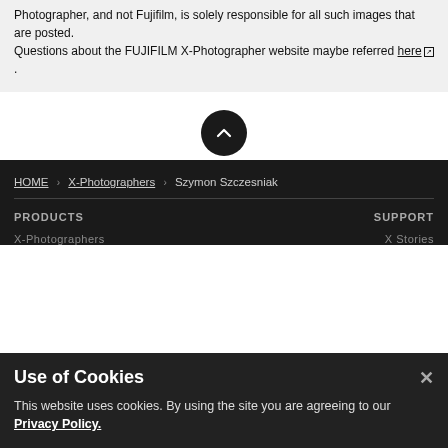Photographer, and not Fujifilm, is solely responsible for all such images that are posted. Questions about the FUJIFILM X-Photographer website maybe referred here.
HOME > X-Photographers > Szymon Szczesniak
PRODUCTS    SUPPORT
Use of Cookies
This website uses cookies. By using the site you are agreeing to our Privacy Policy.
X-Photographers    X Stories